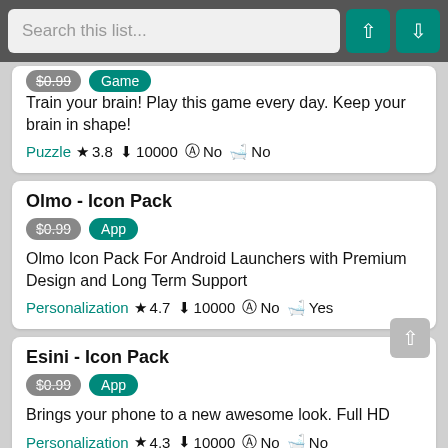Search this list...
Train your brain! Play this game every day. Keep your brain in shape!
Puzzle ★ 3.8 ↓ 10000 ⊘ No 🛒 No
Olmo - Icon Pack
Olmo Icon Pack For Android Launchers with Premium Design and Long Term Support
Personalization ★ 4.7 ↓ 10000 ⊘ No 🛒 Yes
Esini - Icon Pack
Brings your phone to a new awesome look. Full HD
Personalization ★ 4.3 ↓ 10000 ⊘ No 🛒 No